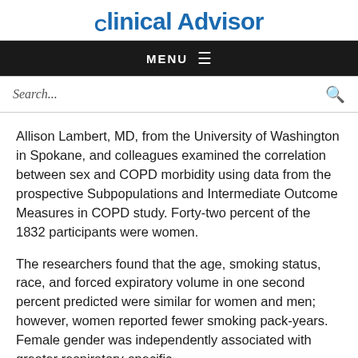Clinical Advisor
Allison Lambert, MD, from the University of Washington in Spokane, and colleagues examined the correlation between sex and COPD morbidity using data from the prospective Subpopulations and Intermediate Outcome Measures in COPD study. Forty-two percent of the 1832 participants were women.
The researchers found that the age, smoking status, race, and forced expiratory volume in one second percent predicted were similar for women and men; however, women reported fewer smoking pack-years. Female gender was independently associated with greater respiratory-specific